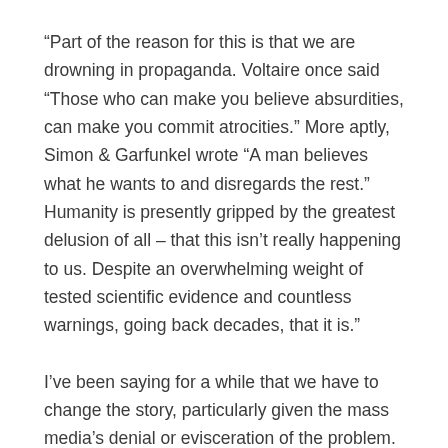“Part of the reason for this is that we are drowning in propaganda. Voltaire once said “Those who can make you believe absurdities, can make you commit atrocities.” More aptly, Simon & Garfunkel wrote “A man believes what he wants to and disregards the rest.” Humanity is presently gripped by the greatest delusion of all – that this isn’t really happening to us. Despite an overwhelming weight of tested scientific evidence and countless warnings, going back decades, that it is.”
I’ve been saying for a while that we have to change the story, particularly given the mass media’s denial or evisceration of the problem. In that sense, we all have a part to play, and I